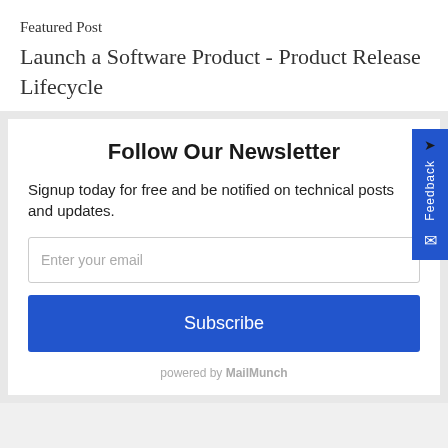Featured Post
Launch a Software Product - Product Release Lifecycle
Follow Our Newsletter
Signup today for free and be notified on technical posts and updates.
Enter your email
Subscribe
powered by MailMunch